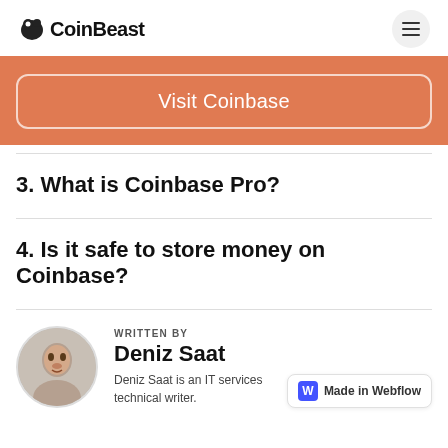CoinBeast
[Figure (other): Visit Coinbase button on orange background banner]
3. What is Coinbase Pro?
4. Is it safe to store money on Coinbase?
WRITTEN BY
Deniz Saat
Deniz Saat is an IT services technical writer.